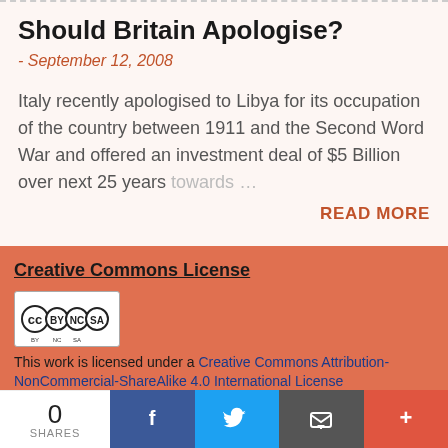Should Britain Apologise?
- September 12, 2008
Italy recently apologised to Libya for its occupation of the country between 1911 and the Second Word War and offered an investment deal of $5 Billion over next 25 years towards…
READ MORE
Creative Commons License
[Figure (logo): Creative Commons CC BY NC SA license badge]
This work is licensed under a Creative Commons Attribution-NonCommercial-ShareAlike 4.0 International License
0 SHARES | Facebook | Twitter | Email | +